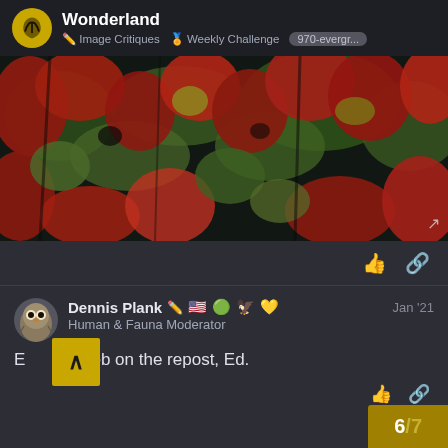Wonderland — Image Critiques | Weekly Challenge | 970-evergr...
[Figure (photo): Close-up photograph of dense autumn foliage with bright red and green shrubs/plants against a dark background]
Dennis Plank 🇺🇸 🌲 🦅 💛  Jan '21
Human & Fauna Moderator
Excellent job on the repost, Ed.
6/7